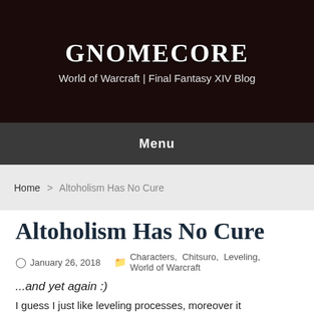GNOMECORE
World of Warcraft | Final Fantasy XIV Blog
Menu
Home > Altoholism Has No Cure
Altoholism Has No Cure
January 26, 2018  Characters, Chitsuro, Leveling, World of Warcraft
...and yet again :)
I guess I just like leveling processes, moreover it